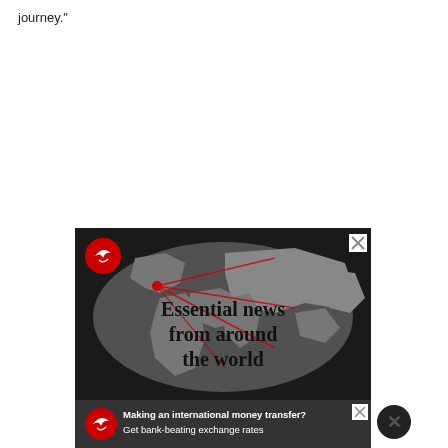journey."
[Figure (infographic): Advertisement banner with dark background showing a world map in gray/black tones. Red circle logo with white bird (The Week magazine) in top left. Bold text 'Essential news from around the world' on right side. Red curved lines emanate from a point in Europe across the map. Close X button in top right corner.]
[Figure (infographic): Bottom advertisement bar with dark gray background. Red circle logo with white bird on left. White text: 'Making an international money transfer? Get bank-beating exchange rates'. Close X button in top right. Large circular X button on far right edge.]